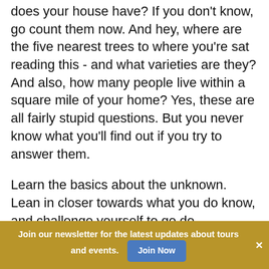does your house have? If you don't know, go count them now. And hey, where are the five nearest trees to where you're sat reading this - and what varieties are they? And also, how many people live within a square mile of your home? Yes, these are all fairly stupid questions. But you never know what you'll find out if you try to answer them.

Learn the basics about the unknown. Lean in closer towards what you do know, and challenge yourself to go do something today that you'd struggle to explain coherently if someone asked you.
Join our newsletter for the latest updates about tours and events. Join Now ×